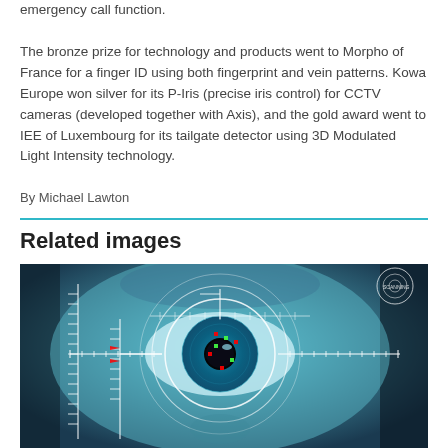emergency call function.

The bronze prize for technology and products went to Morpho of France for a finger ID using both fingerprint and vein patterns. Kowa Europe won silver for its P-Iris (precise iris control) for CCTV cameras (developed together with Axis), and the gold award went to IEE of Luxembourg for its tailgate detector using 3D Modulated Light Intensity technology.
By Michael Lawton
Related images
[Figure (photo): Close-up photo of a human eye with iris recognition scanning overlay — concentric circles, measurement grid lines, and colored markers on the iris, with a blue tinted tonal palette suggesting biometric security technology.]